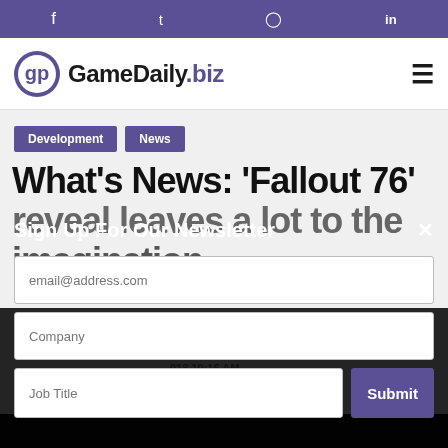Social bar with Facebook, Twitter, Instagram, LinkedIn icons
[Figure (logo): GameDaily.biz logo with controller icon and hamburger menu]
Development
News
What's News: 'Fallout 76' reveal leaves a lot to the imagination
Sign Up For Our Newsletter
email@address.com
Company
Job Title
Submit